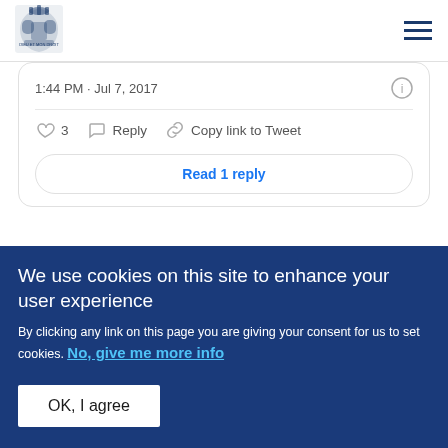[Figure (logo): UK Government royal coat of arms crest in dark blue]
1:44 PM · Jul 7, 2017
3   Reply   Copy link to Tweet
Read 1 reply
We use cookies on this site to enhance your user experience
By clicking any link on this page you are giving your consent for us to set cookies. No, give me more info
OK, I agree